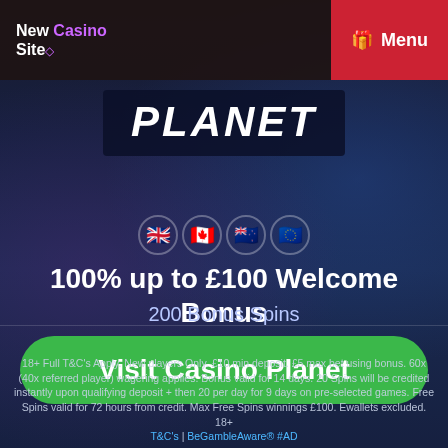New Casino Site | Menu
[Figure (logo): Casino Planet logo — white bold italic text 'PLANET' on dark navy background]
[Figure (infographic): Row of four circular flag icons: UK flag, Canada flag, New Zealand flag, EU flag]
100% up to £100 Welcome Bonus
200 Bonus Spins
Visit Casino Planet
18+ Full T&C's Apply. New players Only. £10 min deposit. £5 max bet using bonus. 60x (40x referred player) wagering applies. Bonus valid for 14 days. 20 Spins will be credited instantly upon qualifying deposit + then 20 per day for 9 days on pre-selected games. Free Spins valid for 72 hours from credit. Max Free Spins winnings £100. Ewallets excluded. 18+ T&C's | BeGambleAware® #AD